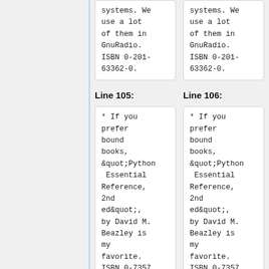systems. We use a lot of them in GnuRadio. ISBN 0-201-63362-0.
systems. We use a lot of them in GnuRadio. ISBN 0-201-63362-0.
Line 105:
Line 106:
* If you prefer bound books, &quot;Python Essential Reference, 2nd ed&quot;, by David M. Beazley is my favorite. ISBN 0-7357
* If you prefer bound books, &quot;Python Essential Reference, 2nd ed&quot;, by David M. Beazley is my favorite. ISBN 0-7357